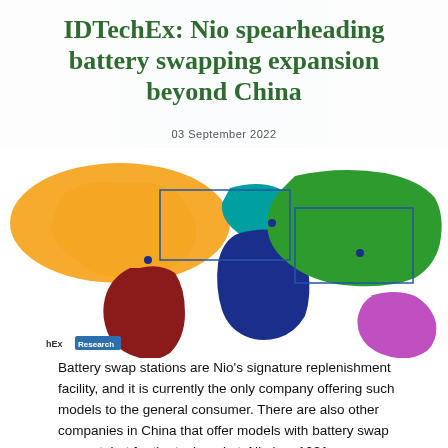IDTechEx: Nio spearheading battery swapping expansion beyond China
03 September 2022
[Figure (map): World map with continents colored in different colors: North America in orange, South America in dark red, Europe in teal/blue, Africa in dark blue, Asia in green, Australia in purple/pink. Blue rectangle outlines highlight certain regions. Small dots mark specific locations. IDTechEx Research logo in bottom left.]
Battery swap stations are Nio's signature replenishment facility, and it is currently the only company offering such models to the general consumer. There are also other companies in China that offer models with battery swap support, but for the taxi market. Nio has 1031 swap